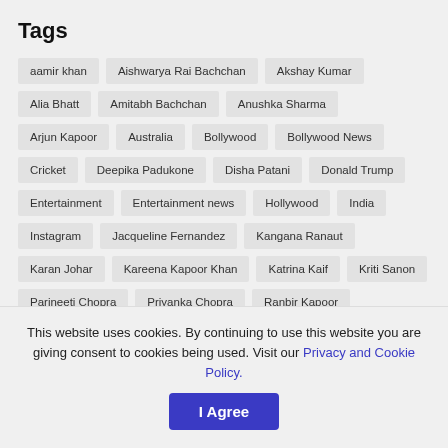Tags
aamir khan
Aishwarya Rai Bachchan
Akshay Kumar
Alia Bhatt
Amitabh Bachchan
Anushka Sharma
Arjun Kapoor
Australia
Bollywood
Bollywood News
Cricket
Deepika Padukone
Disha Patani
Donald Trump
Entertainment
Entertainment news
Hollywood
India
Instagram
Jacqueline Fernandez
Kangana Ranaut
Karan Johar
Kareena Kapoor Khan
Katrina Kaif
Kriti Sanon
Parineeti Chopra
Priyanka Chopra
Ranbir Kapoor
Ranveer Singh
Saif Ali Khan
Salman Khan
This website uses cookies. By continuing to use this website you are giving consent to cookies being used. Visit our Privacy and Cookie Policy.